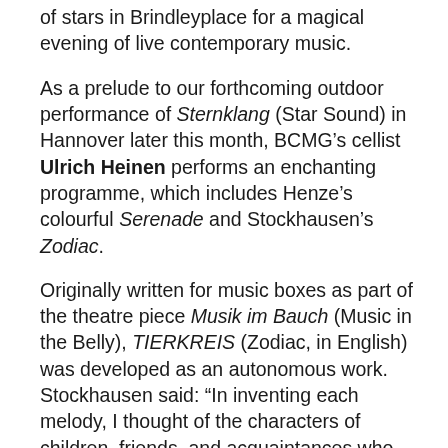of stars in Brindleyplace for a magical evening of live contemporary music.
As a prelude to our forthcoming outdoor performance of Sternklang (Star Sound) in Hannover later this month, BCMG’s cellist Ulrich Heinen performs an enchanting programme, which includes Henze’s colourful Serenade and Stockhausen’s Zodiac.
Originally written for music boxes as part of the theatre piece Musik im Bauch (Music in the Belly), TIERKREIS (Zodiac, in English) was developed as an autonomous work. Stockhausen said: “In inventing each melody, I thought of the characters of children, friends, and acquaintances who were born under the various star signs and studied the human types of the star signs more thoroughly.”
Each of the melodies has its own character, therefore, with its own central pitch. Aquarius (the star sign of Julius...